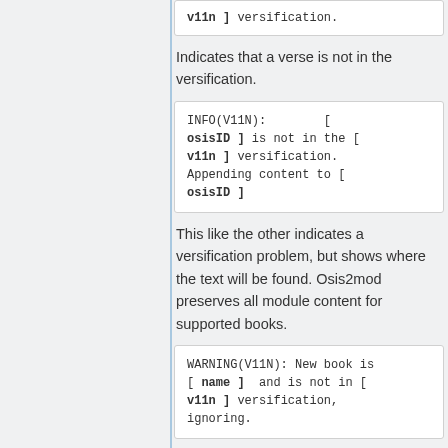v11n ] versification.
Indicates that a verse is not in the versification.
INFO(V11N):        [
osisID ] is not in the [
v11n ] versification.
Appending content to [
osisID ]
This like the other indicates a versification problem, but shows where the text will be found. Osis2mod preserves all module content for supported books.
WARNING(V11N): New book is
[ name ]  and is not in [
v11n ] versification,
ignoring.